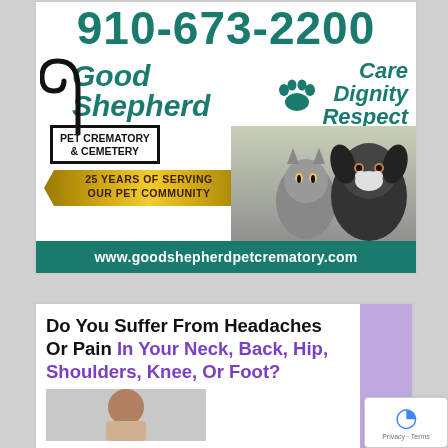[Figure (advertisement): Good Shepherd Pet Crematory & Cemetery advertisement showing phone number 910-673-2200, shepherd hook logo, paw print, 'Care Dignity Respect' tagline, photos of cat and dog, '25 Years of Serving Our Pet Community' ribbon, and website www.goodshepherdpetcrematory.com]
[Figure (advertisement): Medical advertisement asking 'Do You Suffer From Headaches Or Pain In Your Neck, Back, Hip, Shoulders, Knee, Or Foot?' with a purple accent and image of a person, plus a Google reCAPTCHA badge]